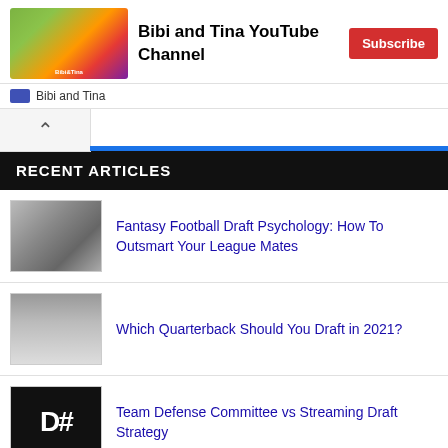[Figure (logo): Bibi and Tina YouTube channel thumbnail image with colorful artwork]
Bibi and Tina YouTube Channel
[Figure (logo): Subscribe button (red)]
Bibi and Tina
RECENT ARTICLES
[Figure (photo): Black and white photo of a football player]
Fantasy Football Draft Psychology: How To Outsmart Your League Mates
[Figure (photo): Photo of a person]
Which Quarterback Should You Draft in 2021?
[Figure (logo): D# logo on black background]
Team Defense Committee vs Streaming Draft Strategy